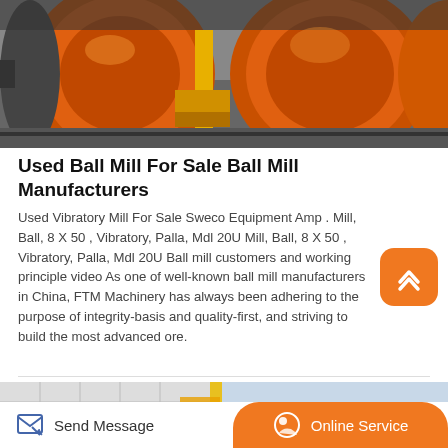[Figure (photo): Orange industrial ball mill machinery photographed from close up, showing large orange cylindrical drum and mechanical components]
Used Ball Mill For Sale Ball Mill Manufacturers
Used Vibratory Mill For Sale Sweco Equipment Amp . Mill, Ball, 8 X 50 , Vibratory, Palla, Mdl 20U Mill, Ball, 8 X 50 , Vibratory, Palla, Mdl 20U Ball mill customers and working principle video As one of well-known ball mill manufacturers in China, FTM Machinery has always been adhering to the purpose of integrity-basis and quality-first, and striving to build the most advanced ore.
[Figure (photo): Yellow construction machinery/equipment partially visible at bottom of page near a building]
Send Message   Online Service